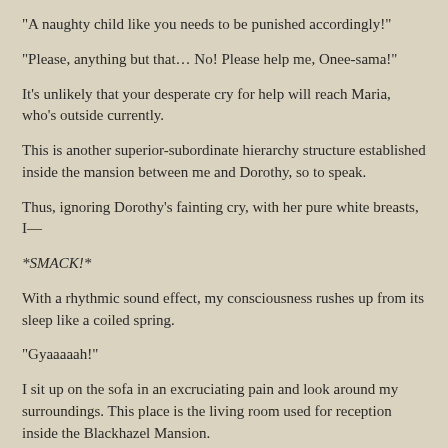"A naughty child like you needs to be punished accordingly!"
"Please, anything but that… No! Please help me, Onee-sama!"
It's unlikely that your desperate cry for help will reach Maria, who's outside currently.
This is another superior-subordinate hierarchy structure established inside the mansion between me and Dorothy, so to speak.
Thus, ignoring Dorothy's fainting cry, with her pure white breasts, I—
*SMACK!*
With a rhythmic sound effect, my consciousness rushes up from its sleep like a coiled spring.
"Gyaaaaah!"
I sit up on the sofa in an excruciating pain and look around my surroundings. This place is the living room used for reception inside the Blackhazel Mansion.